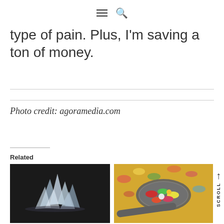[menu icon] [search icon]
type of pain. Plus, I'm saving a ton of money.
Photo credit: agoramedia.com
Related
[Figure (photo): Crystal or crystalline substance on dark background]
[Figure (photo): Colorful pills and capsules on a spoon]